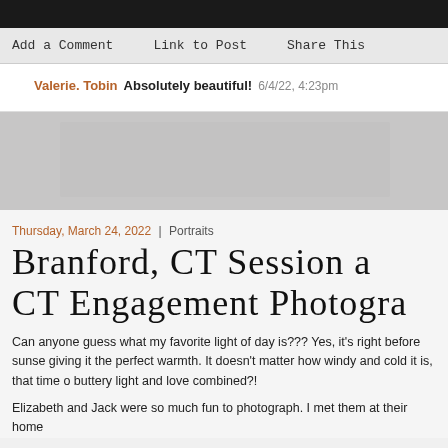Add a Comment
Link to Post
Share This
Valerie. Tobin  Absolutely beautiful!  6/4/22, 4:23pm
[Figure (photo): Gray placeholder photo area]
Thursday, March 24, 2022  |  Portraits
Branford, CT Session a CT Engagement Photogra
Can anyone guess what my favorite light of day is??? Yes, it's right before sunse giving it the perfect warmth. It doesn't matter how windy and cold it is, that time o buttery light and love combined?!
Elizabeth and Jack were so much fun to photograph. I met them at their home